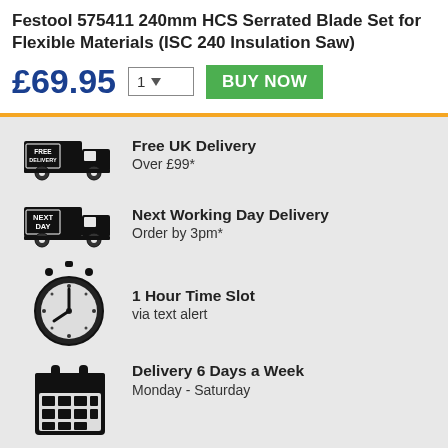Festool 575411 240mm HCS Serrated Blade Set for Flexible Materials (ISC 240 Insulation Saw)
£69.95
[Figure (infographic): Free UK Delivery truck icon with FREE DELIVERY label]
Free UK Delivery
Over £99*
[Figure (infographic): Next Day delivery truck icon with NEXT DAY label]
Next Working Day Delivery
Order by 3pm*
[Figure (infographic): Stopwatch / timer icon]
1 Hour Time Slot
via text alert
[Figure (infographic): Calendar icon]
Delivery 6 Days a Week
Monday - Saturday